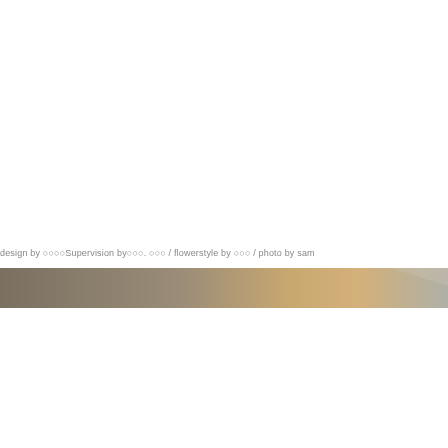design by ○○○○Supervision by○○○. ○○○ / flowerstyle by ○○○ / photo by sam
[Figure (illustration): Decorative horizontal band with gradient from dark taupe/grey on left through warm golden/tan in centre to light grey/silver on right, with diagonal stripe accent on upper right]